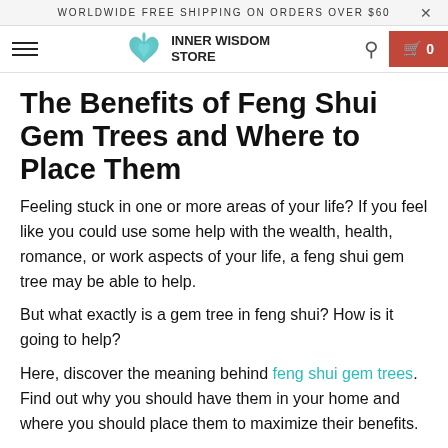WORLDWIDE FREE SHIPPING ON ORDERS OVER $60
INNER WISDOM STORE
The Benefits of Feng Shui Gem Trees and Where to Place Them
Feeling stuck in one or more areas of your life? If you feel like you could use some help with the wealth, health, romance, or work aspects of your life, a feng shui gem tree may be able to help.
But what exactly is a gem tree in feng shui? How is it going to help?
Here, discover the meaning behind feng shui gem trees. Find out why you should have them in your home and where you should place them to maximize their benefits.